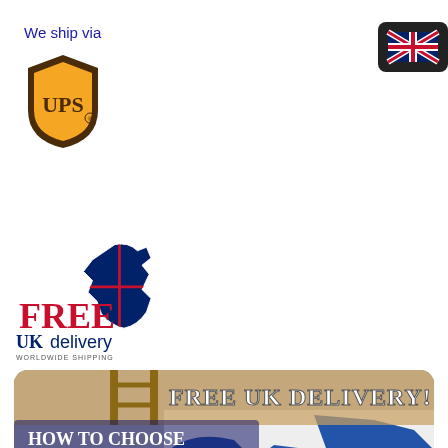We ship via
[Figure (logo): UPS shipping logo - brown shield with yellow UPS text]
[Figure (logo): Free UK Delivery logo with UK map in Union Jack colours, FREE text in red, UK in blue, delivery in blue, WORLDWIDE SHIPPING in small text]
[Figure (infographic): Promotional banner showing FREE UK DELIVERY text at top, HOW TO CHOOSE our Swedish Ladder? text overlay on image of a box with world map design, red button with UK flag and Free shipping to UK text]
[Figure (screenshot): UK flag icon in dark rounded rectangle in top right corner]